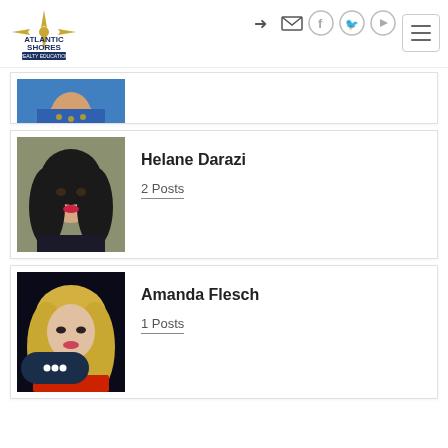Atlantic Shores Realty Education – navigation header
[Figure (photo): Partially visible profile photo of a woman in a blue outfit with gold jewelry]
[Figure (photo): Profile photo of Helane Darazi, woman with dark curly hair and red lipstick]
Helane Darazi
2 Posts
[Figure (photo): Profile photo of Amanda Flesch, blonde woman]
Amanda Flesch
1 Posts